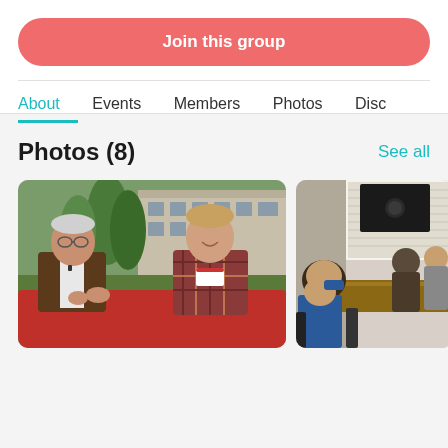Join this group
About  Events  Members  Photos  Disc
Photos (8)
See all
[Figure (photo): Two men sitting at a red table outdoors in front of a building with trees in background. The man on the left is older wearing glasses and a brown jacket. The man on the right is younger wearing a plaid shirt with a name badge.]
[Figure (photo): Group of people seated around a conference table in an office setting with large windows and a TV screen on the wall.]